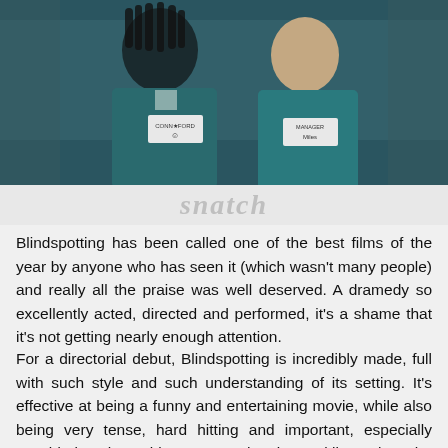[Figure (photo): Two men wearing teal/dark green zip-up jackets with name badges, standing outdoors in an urban setting. The man on the left has dreadlocks, the man on the right is lighter-skinned. Both badges appear to read work-related names.]
snatch
Blindspotting has been called one of the best films of the year by anyone who has seen it (which wasn't many people) and really all the praise was well deserved. A dramedy so excellently acted, directed and performed, it's a shame that it's not getting nearly enough attention.
For a directorial debut, Blindspotting is incredibly made, full with such style and such understanding of its setting. It's effective at being a funny and entertaining movie, while also being very tense, hard hitting and important, especially considering the subject matter that it's tackling. Also, the lead performances by Daveed Diggs and Rafael Casal...